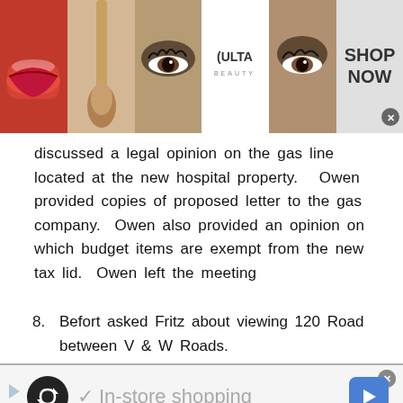[Figure (screenshot): Ulta Beauty advertisement banner with makeup images (lips, brush, eyes), Ulta logo, and SHOP NOW button]
discussed a legal opinion on the gas line located at the new hospital property.  Owen provided copies of proposed letter to the gas company.  Owen also provided an opinion on which budget items are exempt from the new tax lid.  Owen left the meeting
8.  Befort asked Fritz about viewing 120 Road between V & W Roads.
[Figure (screenshot): In-store shopping advertisement banner with play button, loop icon, checkmark, and navigation arrow icon]